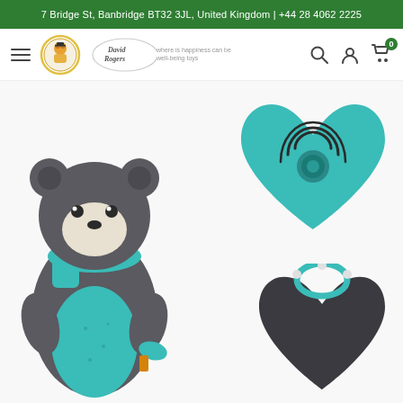7 Bridge St, Banbridge BT32 3JL, United Kingdom | +44 28 4062 2225
[Figure (screenshot): E-commerce website navigation bar with hamburger menu, David Rogers logo, search icon, account icon, and cart icon showing 0 items]
[Figure (photo): Product photo showing a grey bear plush toy with teal scarf and accessories, alongside a teal heart-shaped sound module device and a smaller black heart-shaped component with a ring]